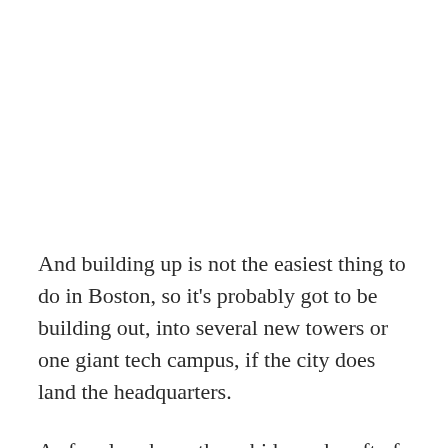And building up is not the easiest thing to do in Boston, so it's probably got to be building out, into several new towers or one giant tech campus, if the city does land the headquarters.
As for elsewhere, those bids are bereft of certain amenities that Amazon said it wanted in its new HQ—